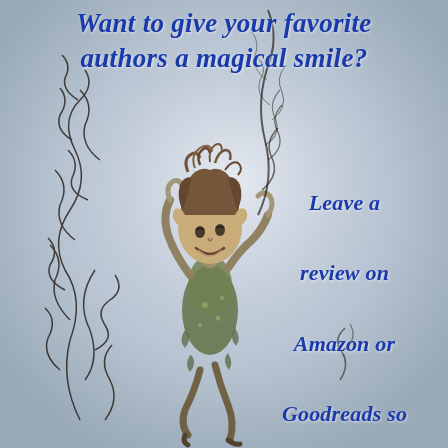[Figure (illustration): A fantasy illustration of a mischievous fairy/elf boy with curly hair, wearing ragged green-brown clothing, holding a long thin wand or stick with swirling black vines around him. The background is a muted grey-blue watercolor wash.]
Want to give your favorite authors a magical smile?
Leave a review on Amazon or Goodreads so other readers can find their books